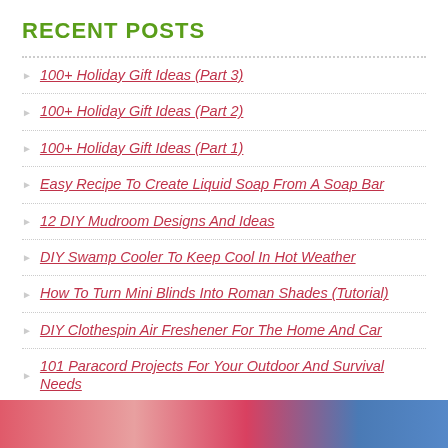RECENT POSTS
100+ Holiday Gift Ideas (Part 3)
100+ Holiday Gift Ideas (Part 2)
100+ Holiday Gift Ideas (Part 1)
Easy Recipe To Create Liquid Soap From A Soap Bar
12 DIY Mudroom Designs And Ideas
DIY Swamp Cooler To Keep Cool In Hot Weather
How To Turn Mini Blinds Into Roman Shades (Tutorial)
DIY Clothespin Air Freshener For The Home And Car
101 Paracord Projects For Your Outdoor And Survival Needs
18 Incredible DIY Chicken Coop Designs And Ideas
[Figure (photo): Bottom strip with colorful image thumbnails partially visible]